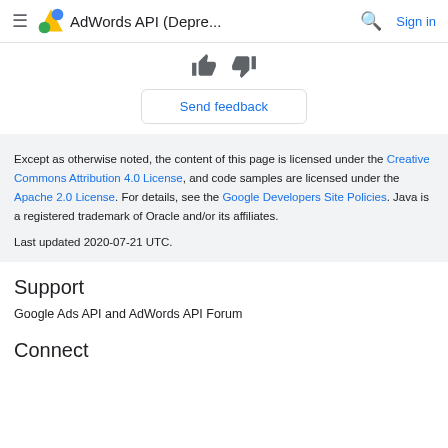AdWords API (Depre... Sign in
[Figure (illustration): Thumbs up and thumbs down feedback icons]
Send feedback
Except as otherwise noted, the content of this page is licensed under the Creative Commons Attribution 4.0 License, and code samples are licensed under the Apache 2.0 License. For details, see the Google Developers Site Policies. Java is a registered trademark of Oracle and/or its affiliates.
Last updated 2020-07-21 UTC.
Support
Google Ads API and AdWords API Forum
Connect